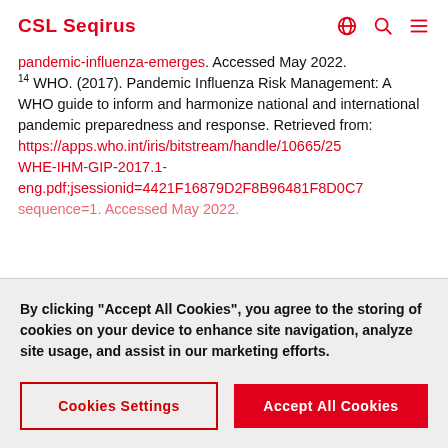CSL Seqirus
pandemic-influenza-emerges. Accessed May 2022. 14 WHO. (2017). Pandemic Influenza Risk Management: A WHO guide to inform and harmonize national and international pandemic preparedness and response. Retrieved from: https://apps.who.int/iris/bitstream/handle/10665/25 WHE-IHM-GIP-2017.1-eng.pdf;jsessionid=4421F16879D2F8B96481F8D0C7 sequence=1. Accessed May 2022.
By clicking "Accept All Cookies", you agree to the storing of cookies on your device to enhance site navigation, analyze site usage, and assist in our marketing efforts.